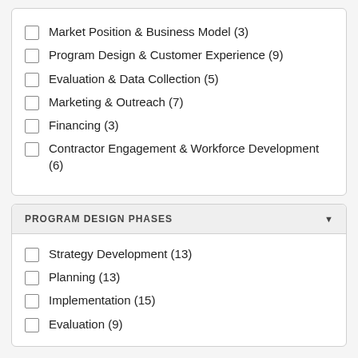Market Position & Business Model (3)
Program Design & Customer Experience (9)
Evaluation & Data Collection (5)
Marketing & Outreach (7)
Financing (3)
Contractor Engagement & Workforce Development (6)
PROGRAM DESIGN PHASES
Strategy Development (13)
Planning (13)
Implementation (15)
Evaluation (9)